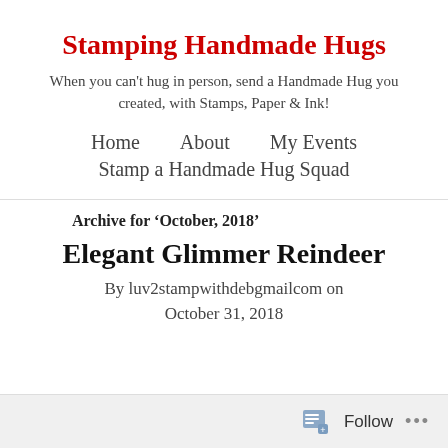Stamping Handmade Hugs
When you can't hug in person, send a Handmade Hug you created, with Stamps, Paper & Ink!
Home
About
My Events
Stamp a Handmade Hug Squad
Archive for ‘October, 2018’
Elegant Glimmer Reindeer
By luv2stampwithdebgmailcom on October 31, 2018
Follow